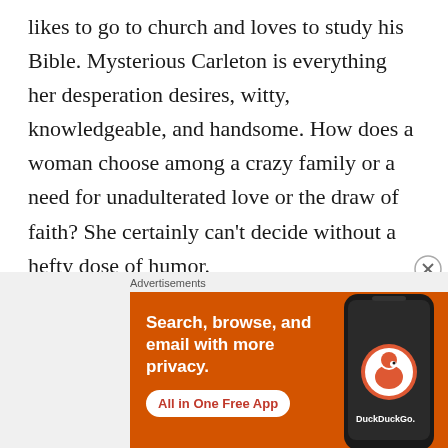likes to go to church and loves to study his Bible. Mysterious Carleton is everything her desperation desires, witty, knowledgeable, and handsome. How does a woman choose among a crazy family or a need for unadulterated love or the draw of faith? She certainly can't decide without a hefty dose of humor.
Purchase the Books
The Daily of Humor...
[Figure (screenshot): DuckDuckGo advertisement banner on orange background with text 'Search, browse, and email with more privacy. All in One Free App' and a phone graphic with DuckDuckGo logo]